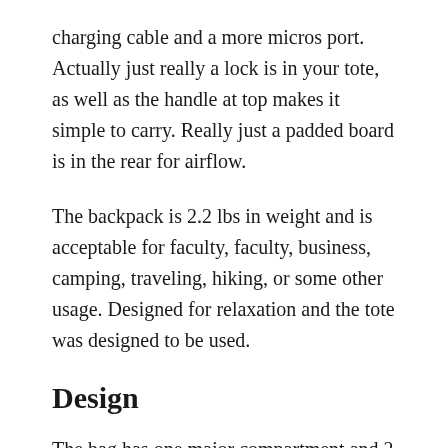charging cable and a more micros port. Actually just really a lock is in your tote, as well as the handle at top makes it simple to carry. Really just a padded board is in the rear for airflow.
The backpack is 2.2 lbs in weight and is acceptable for faculty, faculty, business, camping, traveling, hiking, or some other usage. Designed for relaxation and the tote was designed to be used.
Design
The bag has one major compartment and 2 pockets or pockets in front. The net pockets on the medial side may take an umbrella or water bottles. The main